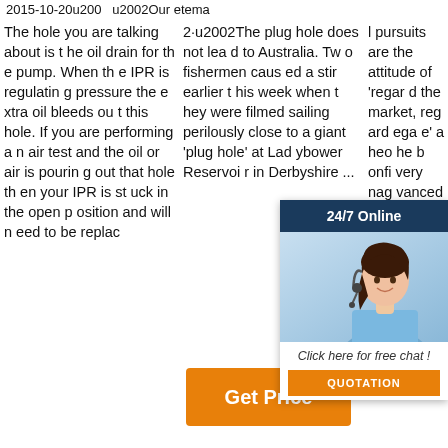2015-10-20u200·u2002Our eternal pursuits are the attitude of 'regard the market, regard...
The hole you are talking about is the oil drain for the pump. When the IPR is regulating pressure the extra oil bleeds out this hole. If you are performing an air test and the oil or air is pouring out that hole then your IPR is stuck in the open position and will need to be replac
2·u2002The plug hole does not lead to Australia. Two fishermen caused a stir earlier this week when they were filmed sailing perilously close to a giant 'plug hole' at Ladybower Reservoir in Derbyshire ...
[Figure (infographic): Customer service chat widget overlay with dark blue header '24/7 Online', photo of woman with headset, italic text 'Click here for free chat!', orange QUOTATION button]
l pursuits are the attitude of 'regard the market, regard...ega...e' a...heo...he b...onfi...very...nag...vanced for Resin Plug Hole PCB, Rigid Flex Circuits, Hole In Pad PCB, Rigid Fle
[Figure (other): Orange 'Get Price' button]
[Figure (logo): Orange dotted circle TOP logo]